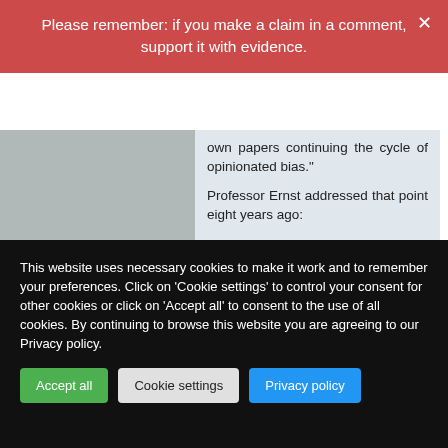Please remember: if you make a claim in a comment, support it with evidence.
own papers continuing the cycle of opinionated bias."
Professor Ernst addressed that point eight years ago:
Quote
"To exclude one's own work in systematic reviews would be woefully unscientific."
Ref:
http://www.ncbi.nlm.nih.gov/pmc/articles/PMC1472718/
This website uses necessary cookies to make it work and to remember your preferences. Click on 'Cookie settings' to control your consent for other cookies or click on 'Accept all' to consent to the use of all cookies. By continuing to browse this website you are agreeing to our Privacy policy.